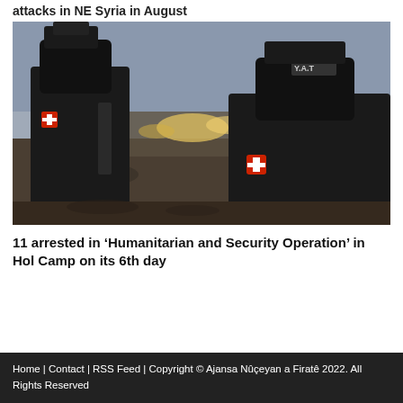attacks in NE Syria in August
[Figure (photo): Two soldiers in black tactical gear and helmets facing each other at dusk, with a camp visible in the background with lights glowing. One soldier has a red cross patch and the other has a YAT patch on their helmet.]
11 arrested in ‘Humanitarian and Security Operation’ in Hol Camp on its 6th day
Home | Contact | RSS Feed | Copyright © Ajansa Nûçeyan a Firatê 2022. All Rights Reserved